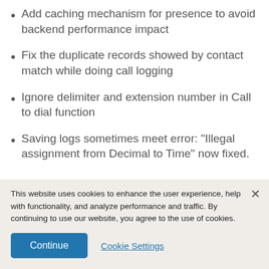Add caching mechanism for presence to avoid backend performance impact
Fix the duplicate records showed by contact match while doing call logging
Ignore delimiter and extension number in Call to dial function
Saving logs sometimes meet error: "Illegal assignment from Decimal to Time" now fixed.
This website uses cookies to enhance the user experience, help with functionality, and analyze performance and traffic. By continuing to use our website, you agree to the use of cookies.